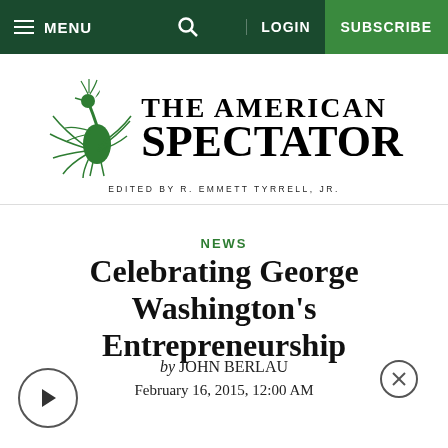MENU   LOGIN   SUBSCRIBE
[Figure (logo): The American Spectator logo with green peacock illustration and text 'THE AMERICAN SPECTATOR' followed by 'EDITED BY R. EMMETT TYRRELL, JR.']
NEWS
Celebrating George Washington's Entrepreneurship
by JOHN BERLAU
February 16, 2015, 12:00 AM
[Figure (other): Audio/video play button circle icon on bottom left, and close (X) button on bottom right]